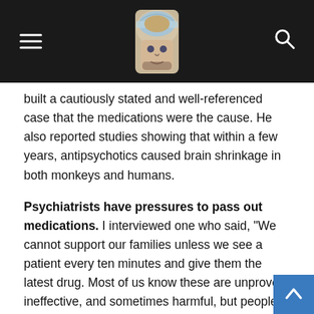[Navigation header with hamburger menu, brain logo, and search icon]
built a cautiously stated and well-referenced case that the medications were the cause. He also reported studies showing that within a few years, antipsychotics caused brain shrinkage in both monkeys and humans.
Psychiatrists have pressures to pass out medications. I interviewed one who said, “We cannot support our families unless we see a patient every ten minutes and give them the latest drug. Most of us know these are unproven, ineffective, and sometimes harmful, but people will not pay us just to talk with them anymore.”
David Healy further describes this circus in Pharmageddon (2012). The industry’s interest in funding psychiatry picked when Prozac became available in 1987. As these SSRIs a